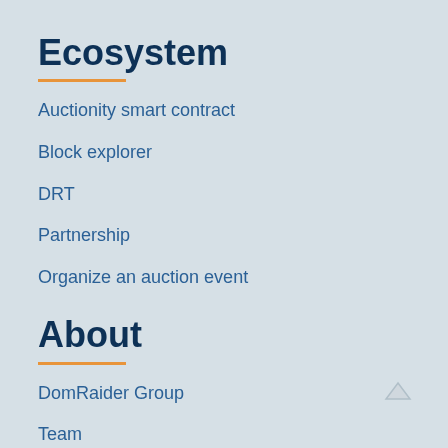Ecosystem
Auctionity smart contract
Block explorer
DRT
Partnership
Organize an auction event
About
DomRaider Group
Team
News
Media